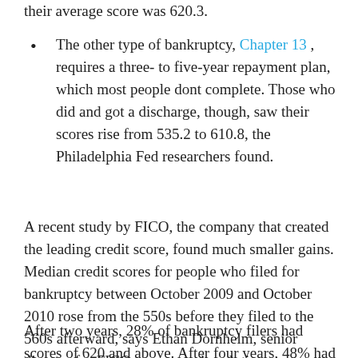their average score was 620.3.
The other type of bankruptcy, Chapter 13, requires a three- to five-year repayment plan, which most people dont complete. Those who did and got a discharge, though, saw their scores rise from 535.2 to 610.8, the Philadelphia Fed researchers found.
A recent study by FICO, the company that created the leading credit score, found much smaller gains. Median credit scores for people who filed for bankruptcy between October 2009 and October 2010 rose from the 550s before they filed to the 560s afterward, says Ethan Dornhelm, senior director for FICOs scores and analytics group.
After two years, 28% of bankruptcy filers had scores of 620 and above. After four years, 48% had scores of 620 or above, and only 1% scored 700 or above.